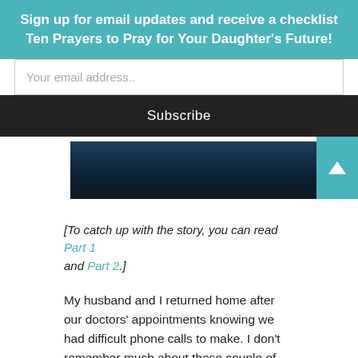Sign up for email updates and receive a checklist Ten Prayers to Pray for Your Daughter's Future!
Your email address..
Subscribe
[Figure (photo): Dark water/lake landscape photo strip]
[To catch up with the story, you can read Part 1 and Part 2.]
My husband and I returned home after our doctors' appointments knowing we had difficult phone calls to make.  I don't remember much about those couple of hours.  I had even forgotten that it was actually my husband who called my parents first to tell them the news, though my mom and my husband remember